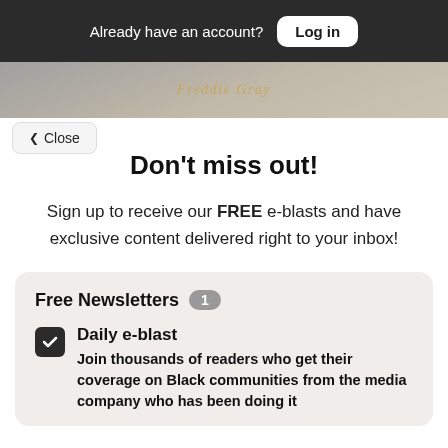Already have an account? Log in
[Figure (photo): Partial image showing text 'Freddie Gray' on a surface, cropped at top of page]
Close
Don't miss out!
Sign up to receive our FREE e-blasts and have exclusive content delivered right to your inbox!
Free Newsletters 1
Daily e-blast
Join thousands of readers who get their coverage on Black communities from the media company who has been doing it